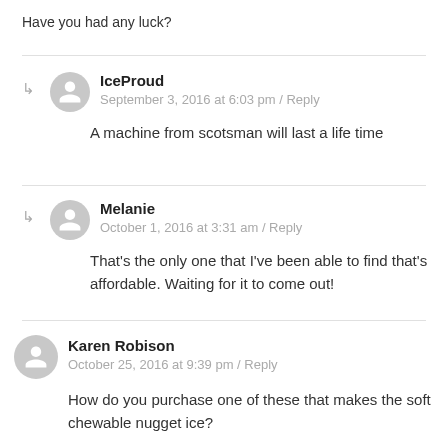Have you had any luck?
IceProud
September 3, 2016 at 6:03 pm / Reply

A machine from scotsman will last a life time
Melanie
October 1, 2016 at 3:31 am / Reply

That's the only one that I've been able to find that's affordable. Waiting for it to come out!
Karen Robison
October 25, 2016 at 9:39 pm / Reply

How do you purchase one of these that makes the soft chewable nugget ice?